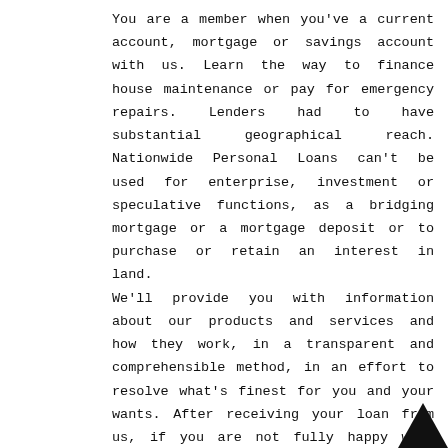You are a member when you've a current account, mortgage or savings account with us. Learn the way to finance house maintenance or pay for emergency repairs. Lenders had to have substantial geographical reach. Nationwide Personal Loans can't be used for enterprise, investment or speculative functions, as a bridging mortgage or a mortgage deposit or to purchase or retain an interest in land.
We'll provide you with information about our products and services and how they work, in a transparent and comprehensible method, in an effort to resolve what's finest for you and your wants. After receiving your loan from us, if you are not fully happy with your expertise,